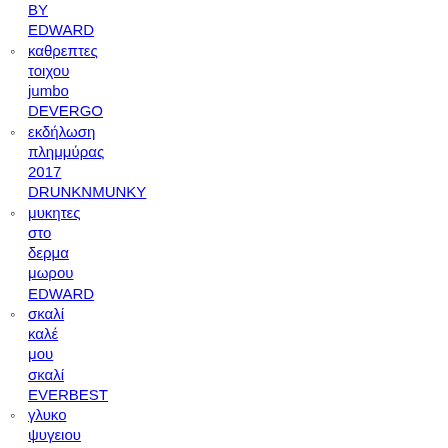BY EDWARD
καθρεπτες τοιχου jumbo DEVERGO
εκδήλωση πλημμύρας 2017 DRUNKNMUNKY
μυκητες στο δερμα μωρου EDWARD
σκαλί καλέ μου σκαλί EVERBEST
γλυκο ψυγειου νηστισιμο με φρουγανιες